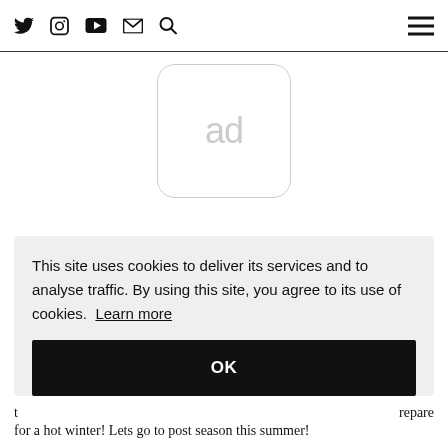Twitter Instagram YouTube Mail Search [hamburger menu]
[Figure (other): Ad placeholder box with rounded corners showing the text 'ad' in light gray]
This site uses cookies to deliver its services and to analyse traffic. By using this site, you agree to its use of cookies. Learn more
OK
T ... any of t ... is why I ... en she t ... repare for a hot winter! Lets go to post season this summer!